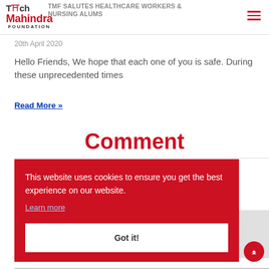[Figure (logo): Tech Mahindra Foundation logo with red and dark text]
TMF SALUTES HEALTHCARE WORKERS & NURSING ALUMS
20th April 2020
Hello Friends, We hope that each one of you is safe. During these unprecedented times
Read More »
Comment
This website uses cookies to ensure you get the best experience on our website.
Learn more
Got it!